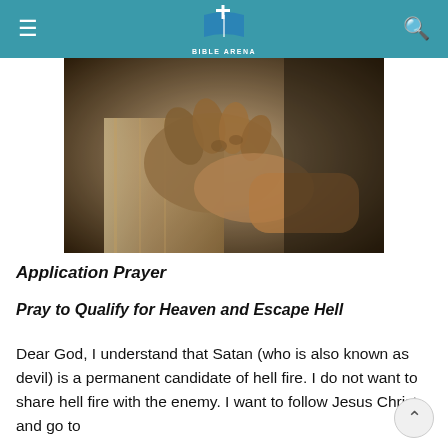≡  BIBLE ARENA  🔍
[Figure (photo): Sepia-toned photograph of two hands clasped together in prayer, resting against a wooden surface, with a dark background]
Application Prayer
Pray to Qualify for Heaven and Escape Hell
Dear God, I understand that Satan (who is also known as devil) is a permanent candidate of hell fire. I do not want to share hell fire with the enemy. I want to follow Jesus Christ and go to